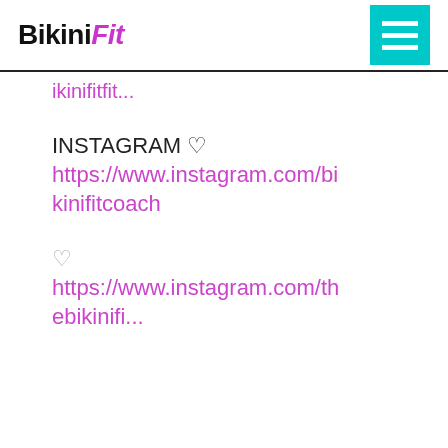BikiniFit
ikinifitfit...
INSTAGRAM ♡
https://www.instagram.com/bikinifitcoach
♡
https://www.instagram.com/thebikinifi...